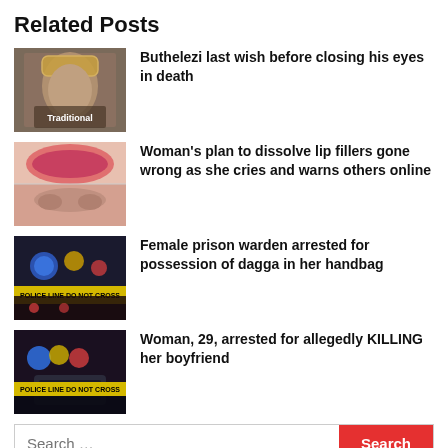Related Posts
Buthelezi last wish before closing his eyes in death
Woman's plan to dissolve lip fillers gone wrong as she cries and warns others online
Female prison warden arrested for possession of dagga in her handbag
Woman, 29, arrested for allegedly KILLING her boyfriend